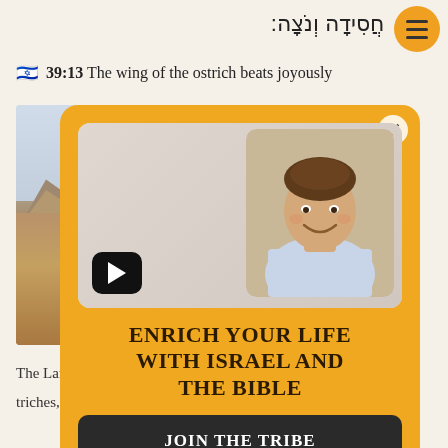חֲסִידָה וְנֹצָה:
39:13  The wing of the ostrich beats joyously
[Figure (screenshot): Mobile web page screenshot showing a Bible study app with a landscape desert photo background and a popup overlay with video thumbnail of a smiling man and Hebrew text]
The Lan
triches, u
JOIN THE TRIBE popup overlay with title: ENRICH YOUR LIFE WITH ISRAEL AND THE BIBLE